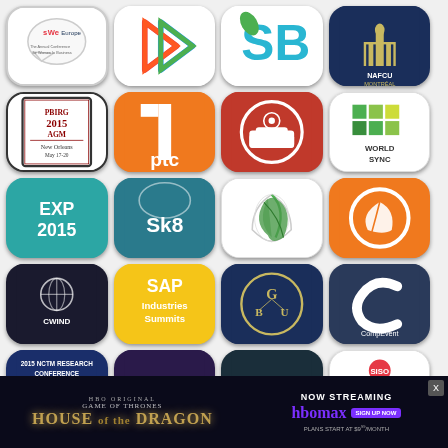[Figure (infographic): Grid of 20 app/event icons in 5 rows of 4: WeEurope, BStreaming, SB logo, NAFCU Montreal, PBIRG 2015 AGM New Orleans, PTC (orange), Couch cinema (red), World Sync, EXP 2015, Sk8, Leaf logo, Orange circle logo, CWIND, SAP Industries Summits, GBU, CompEvent, NCTM Research Conference 2015, CMTS Canadian, DAYS, SISO]
[Figure (infographic): HBO Max ad banner at bottom: House of the Dragon, Now Streaming on HBO Max, Sign Up Now, Plans Start at $9.99/month]